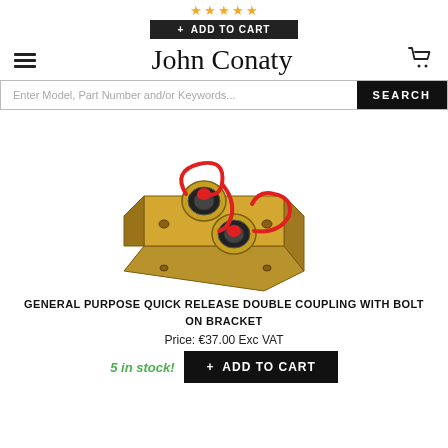[Figure (other): Star rating (5 gold stars) and black ADD TO CART button banner at top]
John Conaty
Enter Model, Part Number and/or Keywords... SEARCH
[Figure (photo): Product photo: General purpose quick release double coupling with bolt on bracket — brass/gold colored metal bracket with two threaded hydraulic couplings wrapped in red rubber dust caps]
GENERAL PURPOSE QUICK RELEASE DOUBLE COUPLING WITH BOLT ON BRACKET
Price: €37.00 Exc VAT
5 in stock!  + ADD TO CART